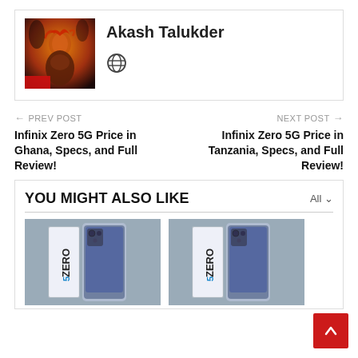[Figure (photo): Author avatar image showing a fantasy game character with red hair and dramatic background]
Akash Talukder
[Figure (other): Globe/website icon]
← PREV POST
Infinix Zero 5G Price in Ghana, Specs, and Full Review!
NEXT POST →
Infinix Zero 5G Price in Tanzania, Specs, and Full Review!
YOU MIGHT ALSO LIKE
All ∨
[Figure (photo): Infinix Zero 5G smartphone product photo with box, purple/silver color]
[Figure (photo): Infinix Zero 5G smartphone product photo with box, purple/silver color (second)]